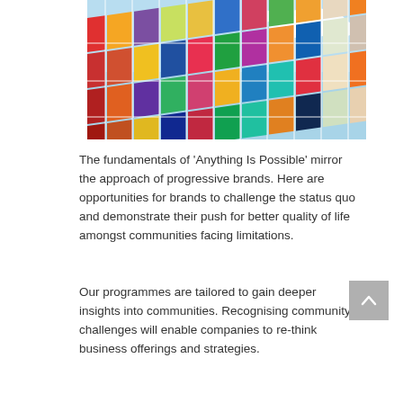[Figure (photo): Colorful tiled building facade with multicolored rectangular panels photographed from below against a blue sky with clouds]
The fundamentals of ‘Anything Is Possible’ mirror the approach of progressive brands. Here are opportunities for brands to challenge the status quo and demonstrate their push for better quality of life amongst communities facing limitations.
Our programmes are tailored to gain deeper insights into communities. Recognising community challenges will enable companies to re-think business offerings and strategies.